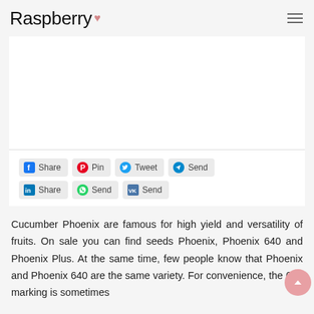Raspberry
[Figure (other): White rectangular image placeholder area inside a white content box]
Share  Pin  Tweet  Send  Share  Send  Send
Cucumber Phoenix are famous for high yield and versatility of fruits. On sale you can find seeds Phoenix, Phoenix 640 and Phoenix Plus. At the same time, few people know that Phoenix and Phoenix 640 are the same variety. For convenience, the 640 marking is sometimes